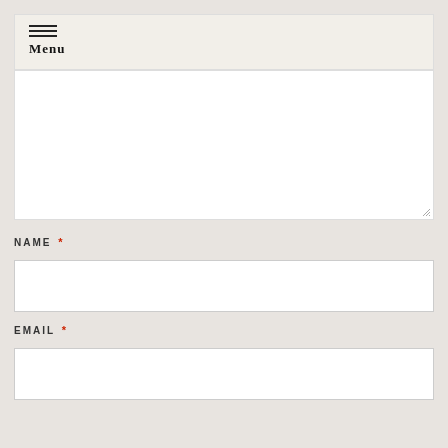[Figure (screenshot): Navigation bar with hamburger menu icon and 'Menu' label text]
[Figure (screenshot): Large empty textarea input field with resize handle in bottom-right corner]
NAME *
[Figure (screenshot): Text input field for Name]
EMAIL *
[Figure (screenshot): Text input field for Email]